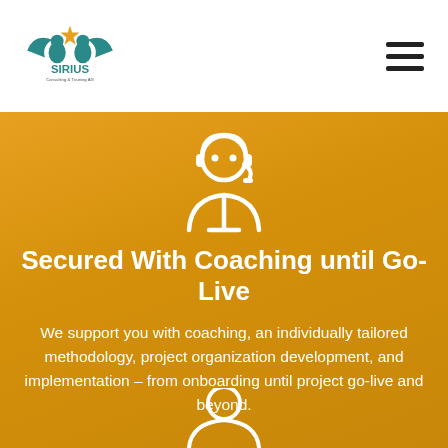[Figure (logo): Sirius Consulting & Training AG logo with two animal figures and a star, teal and orange colors, text SIRIUS below]
Secured With Coaching until Go-Live
We support you with coaching, an individually tailored methodology, project organization development, and implementation – from onboarding until project go-live and beyond.
[Figure (illustration): White outline icon of a person (partially visible at bottom) on orange background]